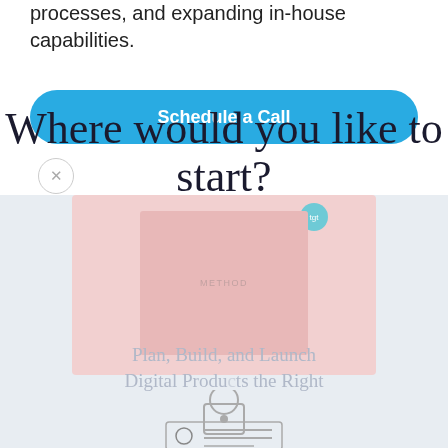processes, and expanding in-house capabilities.
Schedule a Call
Where would you like to start?
Plan, Build, and Launch Digital Products the Right Way
[Figure (screenshot): Pink card UI screenshot with teal circle icon and 'method' label, partially visible mobile app screen]
[Figure (illustration): Partially visible lock/ID card illustration at bottom of page]